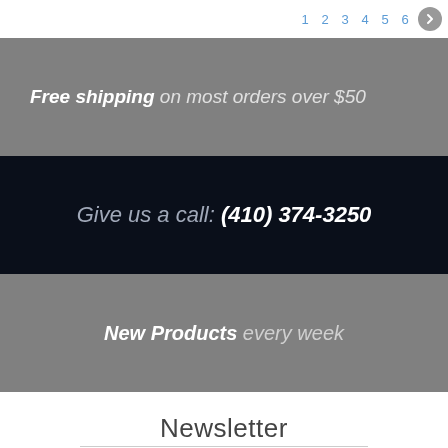1 2 3 4 5 6 →
Free shipping on most orders over $50
Give us a call: (410) 374-3250
New Products every week
Newsletter